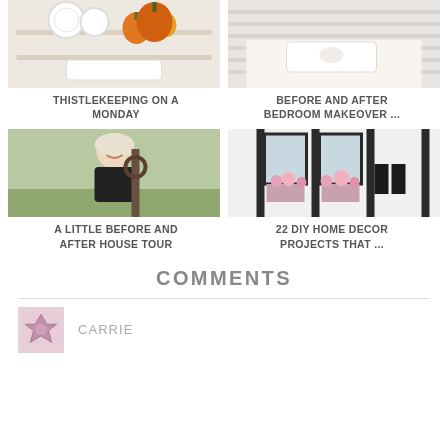[Figure (photo): Shelf with pumpkins and white dishes - Thistlekeeping on a Monday blog post thumbnail]
THISTLEKEEPING ON A MONDAY
[Figure (photo): Bedroom with shiplap headboard and white bedding - Before and After Bedroom Makeover thumbnail]
BEFORE AND AFTER BEDROOM MAKEOVER ...
[Figure (photo): Smiling blonde woman holding a metal ring outdoors - A Little Before and After House Tour thumbnail]
A LITTLE BEFORE AND AFTER HOUSE TOUR
[Figure (photo): Farmhouse porch with lanterns and pink flowers - 22 DIY Home Decor Projects thumbnail]
22 DIY HOME DECOR PROJECTS THAT ...
COMMENTS
CARRIE